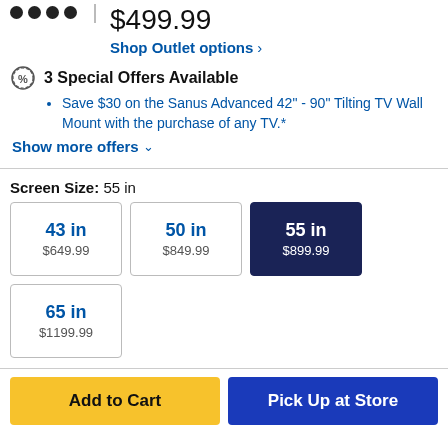$499.99
Shop Outlet options >
3 Special Offers Available
Save $30 on the Sanus Advanced 42" - 90" Tilting TV Wall Mount with the purchase of any TV.*
Show more offers
Screen Size: 55 in
| Size | Price |
| --- | --- |
| 43 in | $649.99 |
| 50 in | $849.99 |
| 55 in | $899.99 |
| 65 in | $1199.99 |
Add to Cart
Pick Up at Store